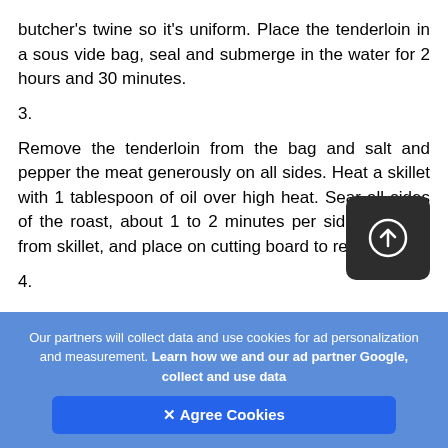butcher's twine so it's uniform. Place the tenderloin in a sous vide bag, seal and submerge in the water for 2 hours and 30 minutes.
3.
Remove the tenderloin from the bag and salt and pepper the meat generously on all sides. Heat a skillet with 1 tablespoon of oil over high heat. Sear all sides of the roast, about 1 to 2 minutes per side. Remove from skillet, and place on cutting board to rest.
4.
[Figure (other): Dark rounded square button with a camera/upload icon (circle with up arrow)]
Our partners will collect data and use cookies for ad personalization and measurement. Learn how we and our ad partner Google, collect and use data
✕ Agree Cookies